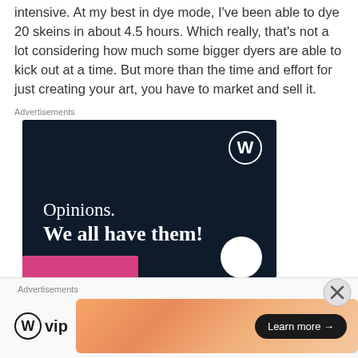intensive. At my best in dye mode, I've been able to dye 20 skeins in about 4.5 hours. Which really, that's not a lot considering how much some bigger dyers are able to kick out at a time. But more than the time and effort for just creating your art, you have to market and sell it.
Advertisements
[Figure (illustration): WordPress advertisement on dark navy background with WordPress 'W' logo in top right, text 'Opinions. We all have them!' in white serif font, pink button at bottom left, white circle at bottom right.]
Advertisements
[Figure (illustration): WordPress VIP logo on left, gradient peach/orange banner on right with 'Learn more →' black pill button]